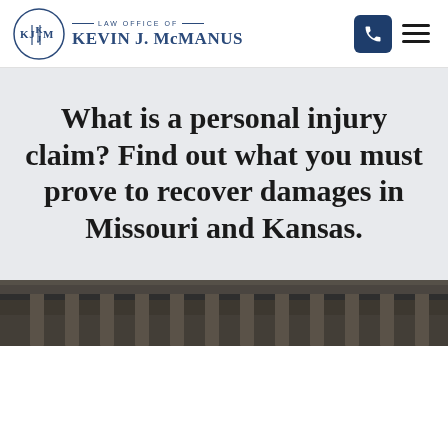Law Office of Kevin J. McManus
What is a personal injury claim? Find out what you must prove to recover damages in Missouri and Kansas.
[Figure (photo): Bottom portion of a courthouse or government building exterior, showing architectural columns and details, in dark tones]